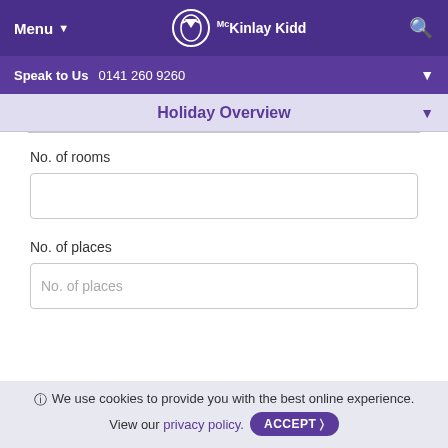Menu | McKinlay Kidd | Search
Speak to Us  0141 260 9260
Holiday Overview
No. of rooms
No. of places
We use cookies to provide you with the best online experience. View our privacy policy. ACCEPT